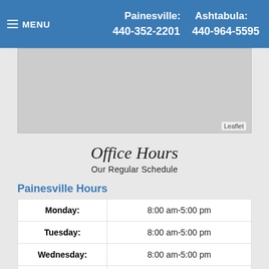MENU | Painesville: 440-352-2201  Ashtabula: 440-964-5595
[Figure (map): Gray map area with Leaflet attribution]
Office Hours
Our Regular Schedule
Painesville Hours
| Day | Hours |
| --- | --- |
| Monday: | 8:00 am-5:00 pm |
| Tuesday: | 8:00 am-5:00 pm |
| Wednesday: | 8:00 am-5:00 pm |